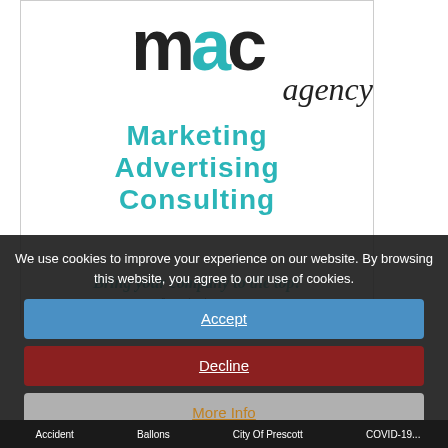[Figure (logo): MAC Agency logo with large black 'M', teal 'A', black 'C' letters, cursive 'agency' text, and teal bold text reading 'Marketing Advertising Consulting' below]
Bring your company to the top! & our business...
We use cookies to improve your experience on our website. By browsing this website, you agree to our use of cookies.
Accept
Decline
More Info
Accident   Ballons   City Of Prescott   COVID-19...